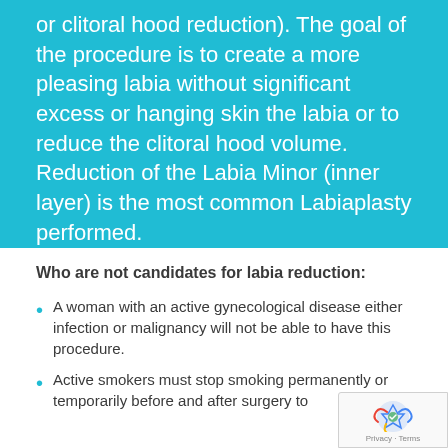or clitoral hood reduction). The goal of the procedure is to create a more pleasing labia without significant excess or hanging skin the labia or to reduce the clitoral hood volume. Reduction of the Labia Minor (inner layer) is the most common Labiaplasty performed.
Who are not candidates for labia reduction:
A woman with an active gynecological disease either infection or malignancy will not be able to have this procedure.
Active smokers must stop smoking permanently or temporarily before and after surgery to